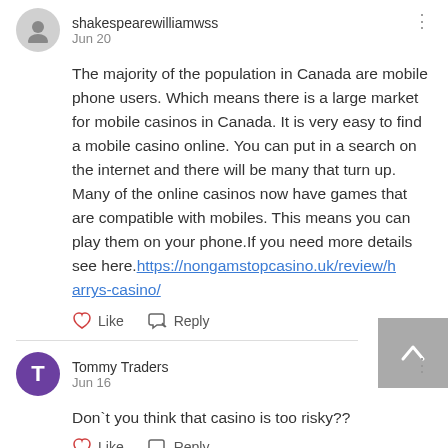shakespearewilliamwss
Jun 20
The majority of the population in Canada are mobile phone users. Which means there is a large market for mobile casinos in Canada. It is very easy to find a mobile casino online. You can put in a search on the internet and there will be many that turn up. Many of the online casinos now have games that are compatible with mobiles. This means you can play them on your phone.If you need more details see here.https://nongamstopcasino.uk/review/harrys-casino/
Like   Reply
Tommy Traders
Jun 16
Don`t you think that casino is too risky??